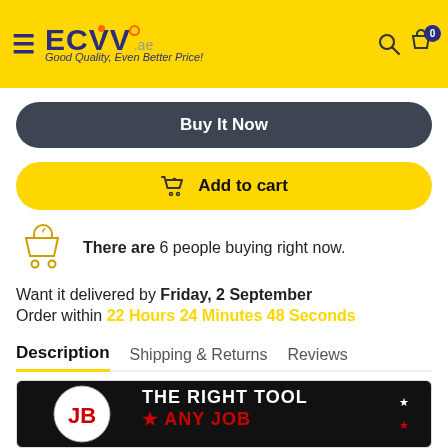ECVV .ae — Good Quality, Even Better Price!
Buy It Now
Add to cart
There are 6 people buying right now.
Want it delivered by Friday, 2 September
Order within 22 Hours 24 Minutes 48 Seconds
Description
Shipping & Returns
Reviews
[Figure (photo): JB brand promotional banner with text THE RIGHT TOOL ANY JOB on dark background]